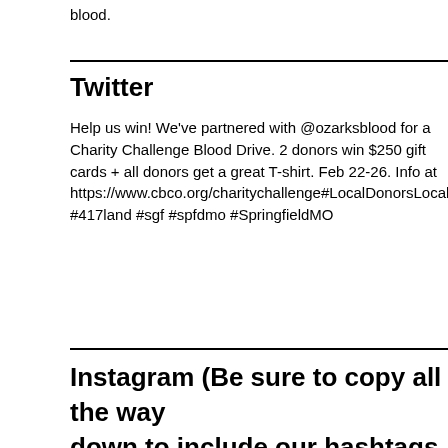blood.
Twitter
Help us win! We’ve partnered with @ozarksblood for a Charity Challenge Blood Drive. 2 donors win $250 gift cards + all donors get a great T-shirt. Feb 22-26. Info at https://www.cbco.org/charitychallenge#LocalDonorsLocalPatients #417land #sgf #spfdmo #SpringfieldMO
Instagram (Be sure to copy all the way down to include our hashtags and add